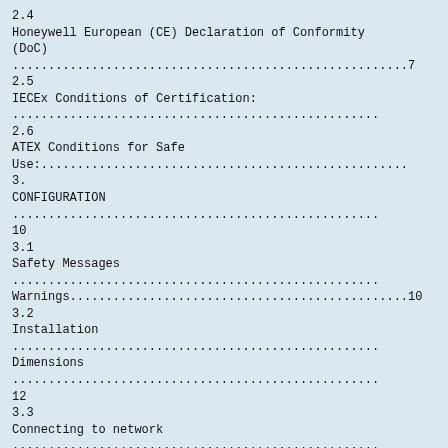2.4
Honeywell European (CE) Declaration of Conformity (DoC)
.......................................................7
2.5
IECEx Conditions of Certification:
...................................................
2.6
ATEX Conditions for Safe
Use:...................................................
3.
CONFIGURATION
...................................................10
3.1
Safety Messages
...................................................
Warnings...............................................10
3.2
Installation
...................................................
Dimensions
...................................................
12
3.3
Connecting to network
...................................................
3.4
Configuration..............................................
4.
OPERATION